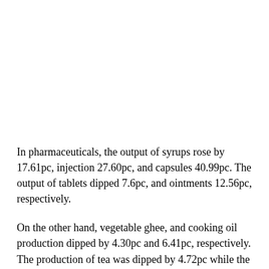In pharmaceuticals, the output of syrups rose by 17.61pc, injection 27.60pc, and capsules 40.99pc. The output of tablets dipped 7.6pc, and ointments 12.56pc, respectively.
On the other hand, vegetable ghee, and cooking oil production dipped by 4.30pc and 6.41pc, respectively. The production of tea was dipped by 4.72pc while the out of wheat and grain milling grew 15.90pc.